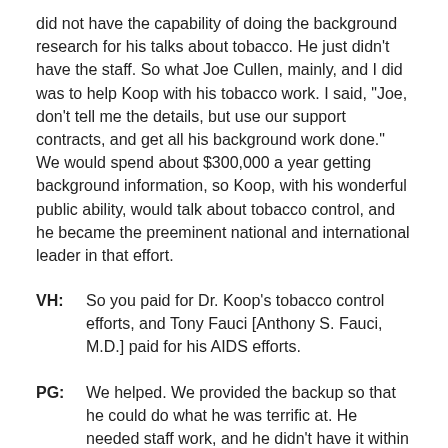did not have the capability of doing the background research for his talks about tobacco. He just didn't have the staff. So what Joe Cullen, mainly, and I did was to help Koop with his tobacco work. I said, "Joe, don't tell me the details, but use our support contracts, and get all his background work done." We would spend about $300,000 a year getting background information, so Koop, with his wonderful public ability, would talk about tobacco control, and he became the preeminent national and international leader in that effort.
VH: So you paid for Dr. Koop's tobacco control efforts, and Tony Fauci [Anthony S. Fauci, M.D.] paid for his AIDS efforts.
PG: We helped. We provided the backup so that he could do what he was terrific at. He needed staff work, and he didn't have it within the Public Health Service.